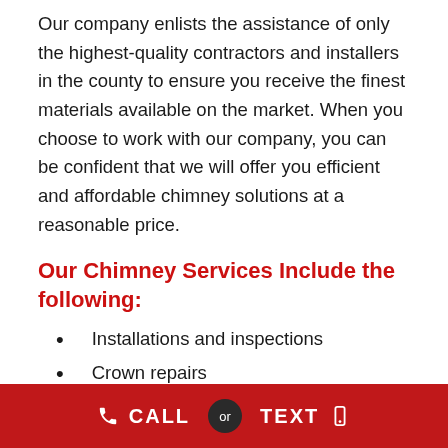Our company enlists the assistance of only the highest-quality contractors and installers in the county to ensure you receive the finest materials available on the market. When you choose to work with our company, you can be confident that we will offer you efficient and affordable chimney solutions at a reasonable price.
Our Chimney Services Include the following:
Installations and inspections
Crown repairs
Flue caps
Flashing (prevents leaks)
CALL or TEXT